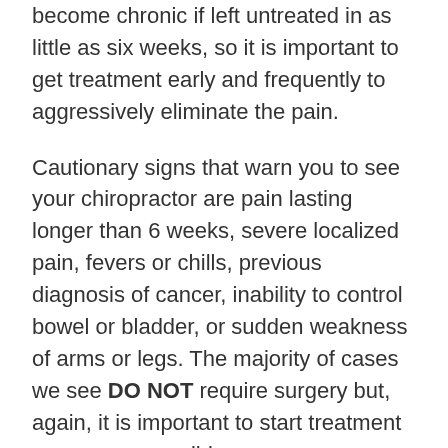become chronic if left untreated in as little as six weeks, so it is important to get treatment early and frequently to aggressively eliminate the pain.
Cautionary signs that warn you to see your chiropractor are pain lasting longer than 6 weeks, severe localized pain, fevers or chills, previous diagnosis of cancer, inability to control bowel or bladder, or sudden weakness of arms or legs. The majority of cases we see DO NOT require surgery but, again, it is important to start treatment as soon as possible.
Whatever is the cause of your pain, whether it be disc degeneration or herniation, muscle spasms, strain, sprain, sports injury, vertebral fractures, tears in the